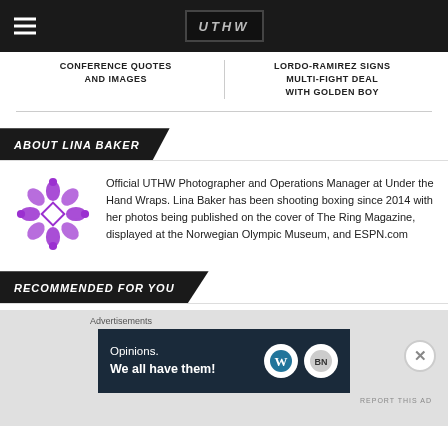UTHW - Under the Hand Wraps
CONFERENCE QUOTES AND IMAGES
LORDO-RAMIREZ SIGNS MULTI-FIGHT DEAL WITH GOLDEN BOY
ABOUT LINA BAKER
[Figure (logo): Purple decorative snowflake/diamond pattern logo for UTHW]
Official UTHW Photographer and Operations Manager at Under the Hand Wraps. Lina Baker has been shooting boxing since 2014 with her photos being published on the cover of The Ring Magazine, displayed at the Norwegian Olympic Museum, and ESPN.com
RECOMMENDED FOR YOU
[Figure (screenshot): Advertisement banner - Opinions. We all have them! with WordPress and BN logos]